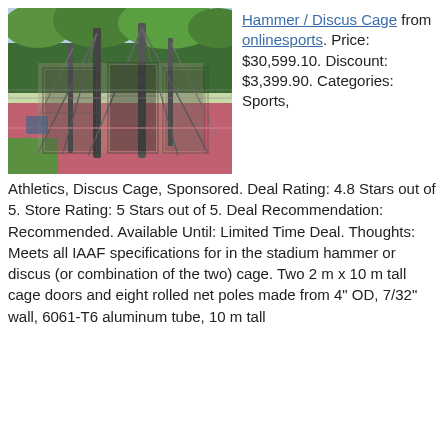[Figure (photo): Outdoor athletic track facility showing a hammer/discus cage with tall metal poles, netting, and a red/pink track surface surrounded by green trees and grass.]
Hammer / Discus Cage from onlinesports. Price: $30,599.10. Discount: $3,399.90. Categories: Sports, Athletics, Discus Cage, Sponsored. Deal Rating: 4.8 Stars out of 5. Store Rating: 5 Stars out of 5. Deal Recommendation: Recommended. Available Until: Limited Time Deal. Thoughts: Meets all IAAF specifications for in the stadium hammer or discus (or combination of the two) cage. Two 2 m x 10 m tall cage doors and eight rolled net poles made from 4" OD, 7/32" wall, 6061-T6 aluminum tube, 10 m tall